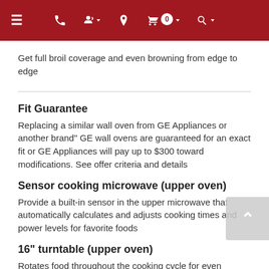Navigation bar with menu, phone, account, location, cart (0), and search icons
Get full broil coverage and even browning from edge to edge
Fit Guarantee
Replacing a similar wall oven from GE Appliances or another brand" GE wall ovens are guaranteed for an exact fit or GE Appliances will pay up to $300 toward modifications. See offer criteria and details
Sensor cooking microwave (upper oven)
Provide a built-in sensor in the upper microwave that automatically calculates and adjusts cooking times and power levels for favorite foods
16" turntable (upper oven)
Rotates food throughout the cooking cycle for even cooking results